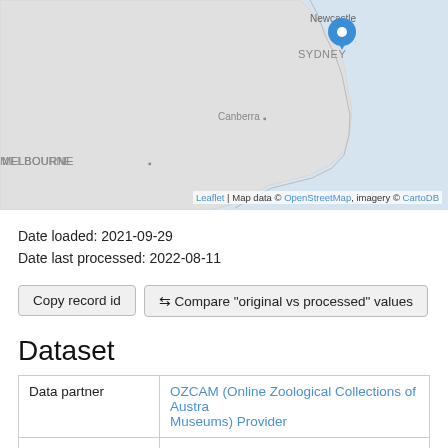[Figure (map): Map showing southeastern Australia with a blue location pin marker near Sydney/Newcastle area. City labels visible: Newcastle, SYDNEY, Canberra, MELBOURNE. Coastline visible on right side. Map attribution text at bottom right.]
Date loaded: 2021-09-29
Date last processed: 2022-08-11
Copy record id
⇆ Compare "original vs processed" values
Dataset
|  |  |
| --- | --- |
| Data partner | OZCAM (Online Zoological Collections of Australian Museums) Provider |
| Data resource | Australian Museum provider for OZCAM |